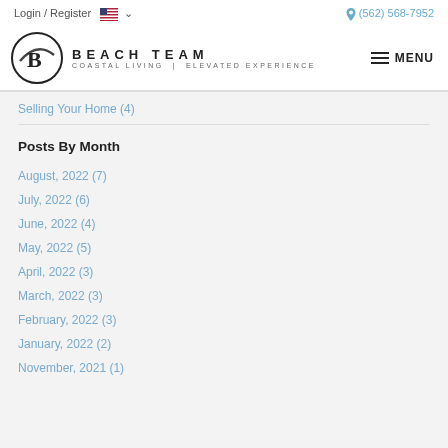Login / Register   🇺🇸 ∨   (562) 568-7952
[Figure (logo): Beach Team logo: circular B emblem with BEACH TEAM wordmark and tagline COASTAL LIVING | ELEVATED EXPERIENCE]
Selling Your Home (4)
Posts By Month
August, 2022 (7)
July, 2022 (6)
June, 2022 (4)
May, 2022 (5)
April, 2022 (3)
March, 2022 (3)
February, 2022 (3)
January, 2022 (2)
November, 2021 (1)